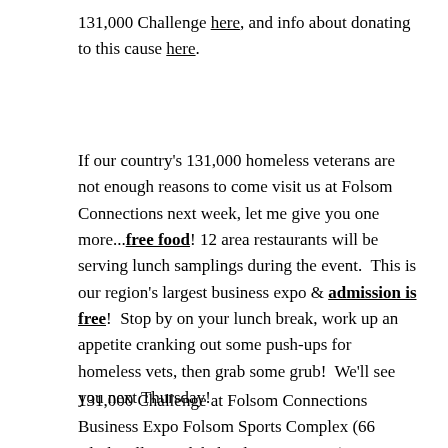131,000 Challenge here, and info about donating to this cause here.
If our country's 131,000 homeless veterans are not enough reasons to come visit us at Folsom Connections next week, let me give you one more...free food! 12 area restaurants will be serving lunch samplings during the event.  This is our region's largest business expo & admission is free!  Stop by on your lunch break, work up an appetite cranking out some push-ups for homeless vets, then grab some grub!  We'll see you next Thursday!
131,000 Challenge at Folsom Connections Business Expo Folsom Sports Complex (66 Clarksville Road, behind Home Depot)